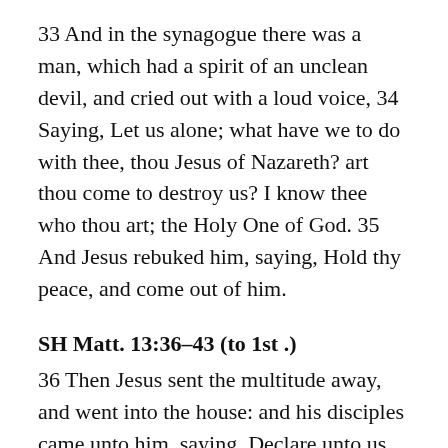33 And in the synagogue there was a man, which had a spirit of an unclean devil, and cried out with a loud voice, 34 Saying, Let us alone; what have we to do with thee, thou Jesus of Nazareth? art thou come to destroy us? I know thee who thou art; the Holy One of God. 35 And Jesus rebuked him, saying, Hold thy peace, and come out of him.
SH Matt. 13:36–43 (to 1st .)
36 Then Jesus sent the multitude away, and went into the house: and his disciples came unto him, saying, Declare unto us the parable of the tares of the field. 37 He answered and said unto them, He that soweth the good seed is the Son of man; 38 The field is the world; the good seed are the children of the kingdom; but